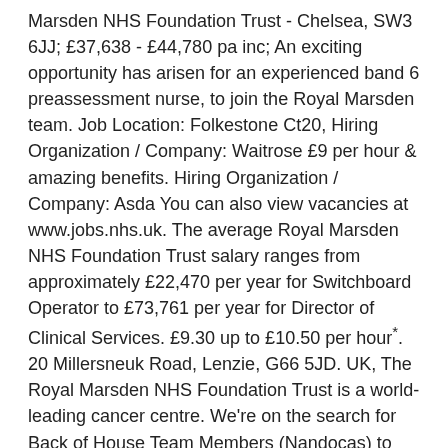Marsden NHS Foundation Trust - Chelsea, SW3 6JJ; £37,638 - £44,780 pa inc; An exciting opportunity has arisen for an experienced band 6 preassessment nurse, to join the Royal Marsden team. Job Location: Folkestone Ct20, Hiring Organization / Company: Waitrose £9 per hour & amazing benefits. Hiring Organization / Company: Asda You can also view vacancies at www.jobs.nhs.uk. The average Royal Marsden NHS Foundation Trust salary ranges from approximately £22,470 per year for Switchboard Operator to £73,761 per year for Director of Clinical Services. £9.30 up to £10.50 per hour*. 20 Millersneuk Road, Lenzie, G66 5JD. UK, The Royal Marsden NHS Foundation Trust is a world-leading cancer centre. We're on the search for Back of House Team Members (Nandocas) to join us! Sutton (30) Chelsea (14) Company. You will have responsibility for Reception switchboard and directing..., Hiring Organization / Company: Portakabin Current vacancies . Job Location: Bishop's Stortford Cm23. The Royal Marsden NHS Foundation Trust; Today The Royal Marsden NHS Foundation Trust is the largest